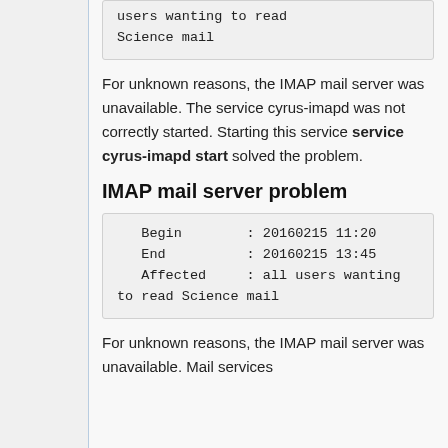users wanting to read Science mail
For unknown reasons, the IMAP mail server was unavailable. The service cyrus-imapd was not correctly started. Starting this service service cyrus-imapd start solved the problem.
IMAP mail server problem
Begin        : 20160215 11:20
End          : 20160215 13:45
Affected     : all users wanting to read Science mail
For unknown reasons, the IMAP mail server was unavailable. Mail services